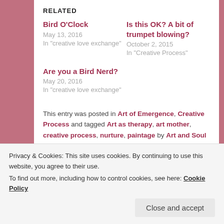RELATED
Bird O'Clock
May 13, 2016
In "creative love exchange"
Is this OK? A bit of trumpet blowing?
October 2, 2015
In "Creative Process"
Are you a Bird Nerd?
May 20, 2016
In "creative love exchange"
This entry was posted in Art of Emergence, Creative Process and tagged Art as therapy, art mother, creative process, nurture, paintage by Art and Soul Space.
Privacy & Cookies: This site uses cookies. By continuing to use this website, you agree to their use.
To find out more, including how to control cookies, see here: Cookie Policy